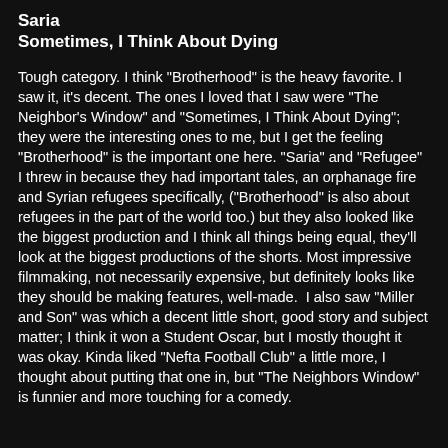Saria
Sometimes, I Think About Dying
Tough category. I think "Brotherhood" is the heavy favorite. I saw it, it's decent. The ones I loved that I saw were "The Neighbor's Window" and "Sometimes, I Think About Dying"; they were the interesting ones to me, but I get the feeling "Brotherhood" is the important one here. "Saria" and "Refugee" I threw in because they had important tales, an orphanage fire and Syrian refugees specifically, ("Brotherhood" is also about refugees in the part of the world too.) but they also looked like the biggest production and I think all things being equal, they'll look at the biggest productions of the shorts. Most impressive filmmaking, not necessarily expensive, but definitely looks like they should be making features, well-made.  I also saw "Miller and Son" was which a decent little short, good story and subject matter; I think it won a Student Oscar, but I mostly thought it was okay. Kinda liked "Nefta Football Club" a little more, I thought about putting that one in, but "The Neighbors Window" is funnier and more touching for a comedy.